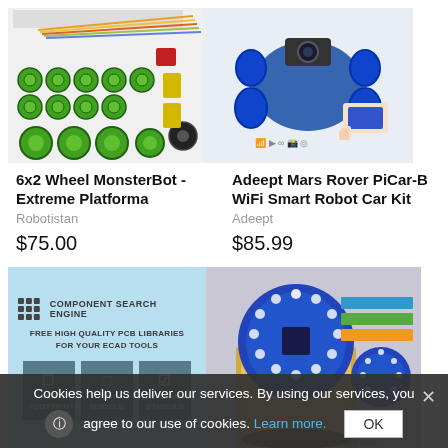[Figure (photo): 6x2 Wheel MonsterBot Extreme Platforma product photo showing wheels, breadboard, jumper wires and components]
6x2 Wheel MonsterBot - Extreme Platforma
Robotistan
$75.00
[Figure (photo): Adeept Mars Rover PiCar-B WiFi Smart Robot Car Kit product photo showing 4-wheel rover with camera and remote]
Adeept Mars Rover PiCar-B WiFi Smart Robot Car Kit
Adeept
$85.99
[Figure (advertisement): Component Search Engine ad - Free High Quality PCB Libraries for your ECAD Tools - showing PCB Footprints, 3D Models, Schematic Symbols buttons]
[Figure (photo): Product photo showing blue circular PCB board in box with accessories]
Cookies help us deliver our services. By using our services, you agree to our use of cookies. Learn more.